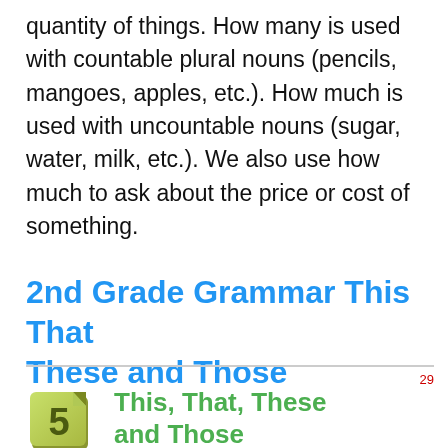quantity of things. How many is used with countable plural nouns (pencils, mangoes, apples, etc.). How much is used with uncountable nouns (sugar, water, milk, etc.). We also use how much to ask about the price or cost of something.
2nd Grade Grammar This That These and Those
29
[Figure (illustration): A yellow/green stone tablet icon with the number 5 on it, representing a lesson number badge]
This, That, These and Those